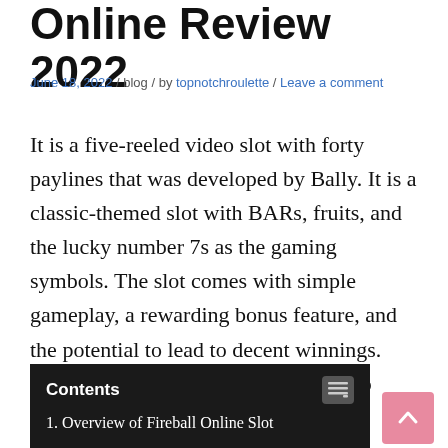Online Review 2022
June 18, 2022 / blog / by topnotchroulette / Leave a comment
It is a five-reeled video slot with forty paylines that was developed by Bally. It is a classic-themed slot with BARs, fruits, and the lucky number 7s as the gaming symbols. The slot comes with simple gameplay, a rewarding bonus feature, and the potential to lead to decent winnings. You can play it through instant play no download on your PC, smartphone, or tablet.
Contents
1. Overview of Fireball Online Slot